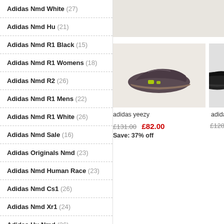Adidas Nmd White (27)
Adidas Nmd Hu (21)
Adidas Nmd R1 Black (15)
Adidas Nmd R1 Womens (18)
Adidas Nmd R2 (26)
Adidas Nmd R1 Mens (22)
Adidas Nmd R1 White (26)
Adidas Nmd Sale (16)
Adidas Originals Nmd (23)
Adidas Nmd Human Race (23)
Adidas Nmd Cs1 (26)
Adidas Nmd Xr1 (24)
Adidas Hu Nmd (26)
Adidas Nmd Cs2 (24)
Adidas Nmd Japan (8)
Adidas Nmd Primeknit (29)
[Figure (photo): Adidas Yeezy 700 Mauve sneaker product image on beige background]
adidas yeezy
£131.00  £82.00  Save: 37% off
adida
£128